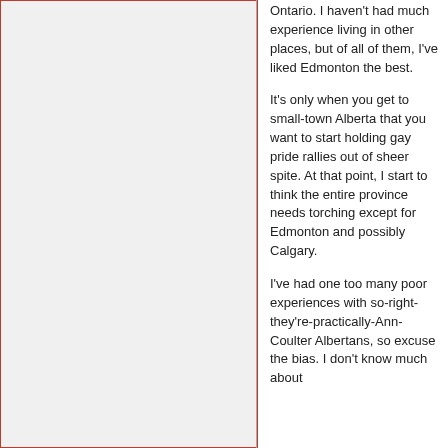Ontario. I haven't had much experience living in other places, but of all of them, I've liked Edmonton the best.
It's only when you get to small-town Alberta that you want to start holding gay pride rallies out of sheer spite. At that point, I start to think the entire province needs torching except for Edmonton and possibly Calgary.
I've had one too many poor experiences with so-right-they're-practically-Ann-Coulter Albertans, so excuse the bias. I don't know much about